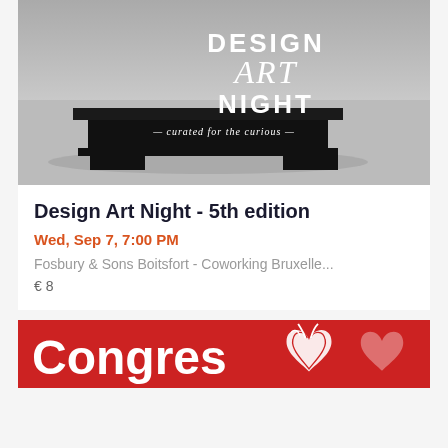[Figure (photo): Black and white photo of a low black rectangular platform/table on concrete floor with text overlay saying DESIGN ART NIGHT - curated for the curious]
Design Art Night - 5th edition
Wed, Sep 7, 7:00 PM
Fosbury & Sons Boitsfort - Coworking Bruxelle...
€ 8
[Figure (photo): Red banner with white text reading Congres and white heart anatomy illustration on red background]